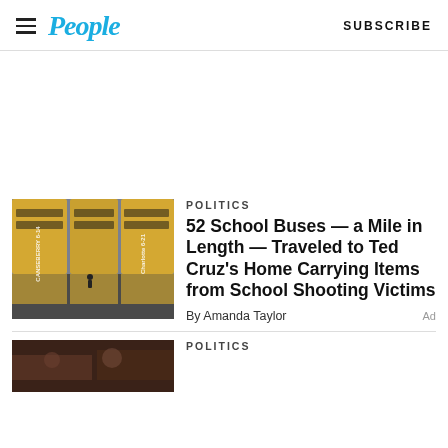People  SUBSCRIBE
[Figure (photo): Aerial view of yellow school buses parked in rows]
POLITICS
52 School Buses — a Mile in Length — Traveled to Ted Cruz's Home Carrying Items from School Shooting Victims
By Amanda Taylor  Ad
POLITICS